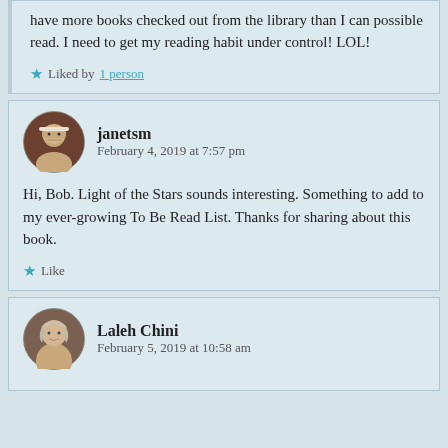have more books checked out from the library than I can possible read. I need to get my reading habit under control! LOL!
Liked by 1 person
janetsm
February 4, 2019 at 7:57 pm
Hi, Bob. Light of the Stars sounds interesting. Something to add to my ever-growing To Be Read List. Thanks for sharing about this book.
Like
Laleh Chini
February 5, 2019 at 10:58 am